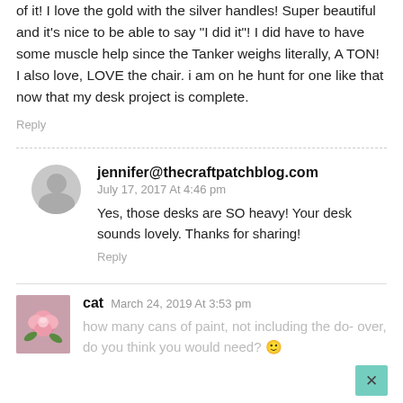of it! I love the gold with the silver handles! Super beautiful and it's nice to be able to say "I did it"! I did have to have some muscle help since the Tanker weighs literally, A TON! I also love, LOVE the chair. i am on he hunt for one like that now that my desk project is complete.
Reply
jennifer@thecraftpatchblog.com
July 17, 2017 At 4:46 pm
Yes, those desks are SO heavy! Your desk sounds lovely. Thanks for sharing!
Reply
cat  March 24, 2019 At 3:53 pm
how many cans of paint, not including the do- over, do you think you would need? 🙂